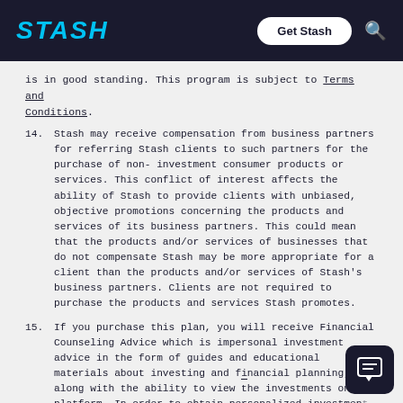STASH | Get Stash
is in good standing. This program is subject to Terms and Conditions.
14. Stash may receive compensation from business partners for referring Stash clients to such partners for the purchase of non-investment consumer products or services. This conflict of interest affects the ability of Stash to provide clients with unbiased, objective promotions concerning the products and services of its business partners. This could mean that the products and/or services of businesses that do not compensate Stash may be more appropriate for a client than the products and/or services of Stash's business partners. Clients are not required to purchase the products and services Stash promotes.
15. If you purchase this plan, you will receive Financial Counseling Advice which is impersonal investment advice in the form of guides and educational materials about investing and financial planning, along with the ability to view the investments on the platform. In order to obtain personalized investment advice, clients are required to complete the suitability questionnaire